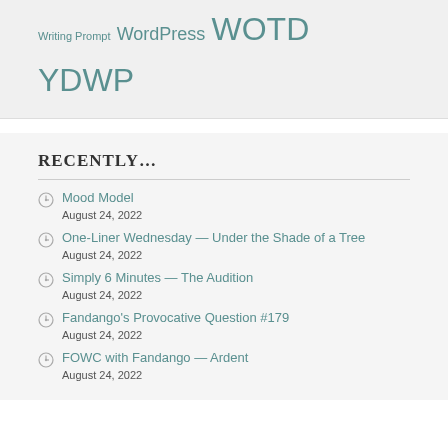Writing Prompt  WordPress  WOTD  YDWP
RECENTLY…
Mood Model
August 24, 2022
One-Liner Wednesday — Under the Shade of a Tree
August 24, 2022
Simply 6 Minutes — The Audition
August 24, 2022
Fandango's Provocative Question #179
August 24, 2022
FOWC with Fandango — Ardent
August 24, 2022